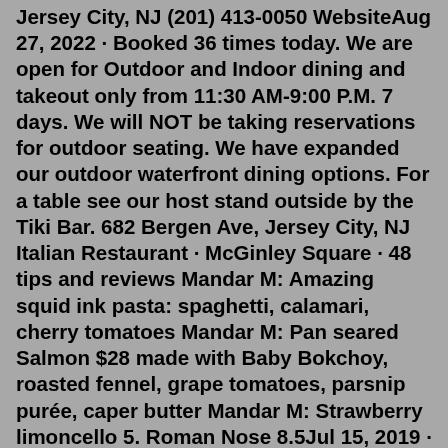Jersey City, NJ (201) 413-0050 WebsiteAug 27, 2022 · Booked 36 times today. We are open for Outdoor and Indoor dining and takeout only from 11:30 AM-9:00 P.M. 7 days. We will NOT be taking reservations for outdoor seating. We have expanded our outdoor waterfront dining options. For a table see our host stand outside by the Tiki Bar. 682 Bergen Ave, Jersey City, NJ Italian Restaurant · McGinley Square · 48 tips and reviews Mandar M: Amazing squid ink pasta: spaghetti, calamari, cherry tomatoes Mandar M: Pan seared Salmon $28 made with Baby Bokchoy, roasted fennel, grape tomatoes, parsnip purée, caper butter Mandar M: Strawberry limoncello 5. Roman Nose 8.5Jul 15, 2019 · Battello. Foodies have a lot to dig into at the recently reopened Battello in Jersey City. Quite literally on the water, this event space and restaurant was shut down last year for renovations, but came back in full-force earlier this year with a slew of new dishes and cocktails. Battello is known for its seafood-inspired, contemporary Italian ... Italian